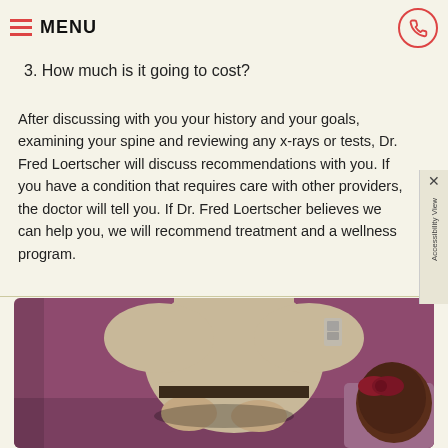MENU
1. Can you help me?
2. What do you recommend that I do to get better?
3. How much is it going to cost?
After discussing with you your history and your goals, examining your spine and reviewing any x-rays or tests, Dr. Fred Loertscher will discuss recommendations with you. If you have a condition that requires care with other providers, the doctor will tell you. If Dr. Fred Loertscher believes we can help you, we will recommend treatment and a wellness program.
[Figure (photo): A chiropractor (wearing a beige/tan t-shirt) performing a spinal adjustment on a patient with dark hair lying on a purple/mauve treatment table, against a purple/mauve background wall.]